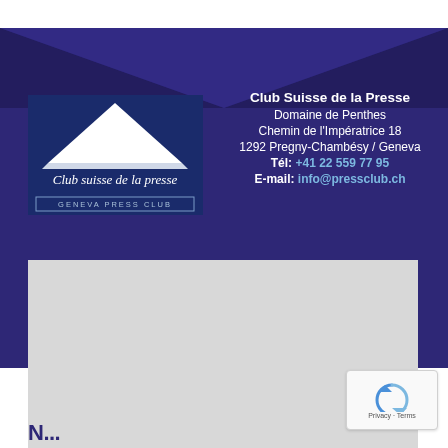[Figure (logo): Club suisse de la presse / Geneva Press Club logo — white tent/pavilion shape on dark blue background with text 'Club suisse de la presse' and 'GENEVA PRESS CLUB']
Club Suisse de la Presse
Domaine de Penthes
Chemin de l'Impératrice 18
1292 Pregny-Chambésy / Geneva
Tél: +41 22 559 77 95
E-mail: info@pressclub.ch
[Figure (other): Large light grey rectangular content area (blank/placeholder)]
[Figure (other): reCAPTCHA badge with circular arrow icon and 'Privacy - Terms' text]
N...........